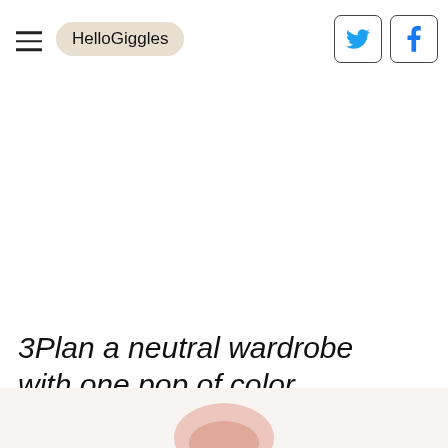HelloGiggles
3Plan a neutral wardrobe with one pop of color.
[Figure (photo): Partial view of a clothing item, pink/coral colored, visible at the bottom of the page.]